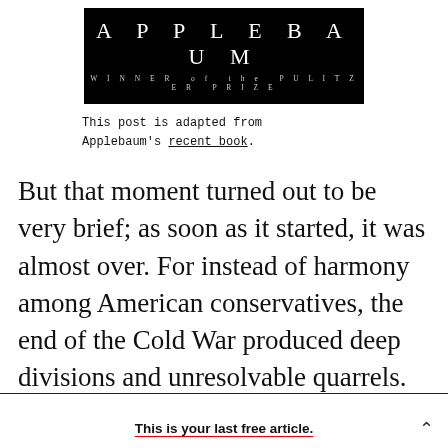[Figure (illustration): Black banner with APPLEBAUM in large spaced white letters and 'WINNER of the PULITZER PRIZE' in smaller spaced grey letters below]
This post is adapted from Applebaum's recent book.
But that moment turned out to be very brief; as soon as it started, it was almost over. For instead of harmony among American conservatives, the end of the Cold War produced deep divisions and unresolvable quarrels.
This is your last free article.